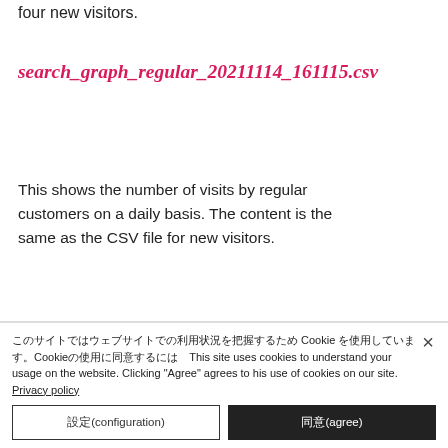four new visitors.
search_graph_regular_20211114_161115.csv
This shows the number of visits by regular customers on a daily basis. The content is the same as the CSV file for new visitors.
[Figure (screenshot): Screenshot showing a CSV file named search_graphTime_new_20211114_161115.csv open in a spreadsheet application, with a ruler/column header row showing column numbers 0, 1, 2, 3.]
このサイトでは Cookie を使用してウェブサイトでの利用状況を把握しています。Cookieの使用に同意するにはThis site uses cookies to understand your usage on the website. Clicking "Agree" agrees to his use of cookies on our site. Privacy policy
設定(configuration)
同意(agree)